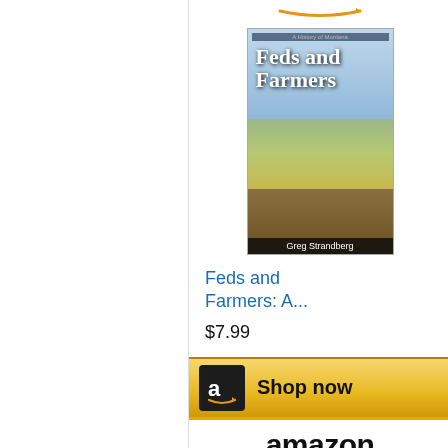[Figure (screenshot): Amazon ad widget showing book 'Feds and Farmers: A...' by Greg Strandberg priced at $7.99 with Shop now button]
Feds and Farmers: A...
$7.99
[Figure (screenshot): Amazon ad widget showing book 'Soldiers and Statesmen: A...' by Greg Strandberg priced at $6.81 with Shop now button]
Soldiers and Statesmen: A...
$6.81